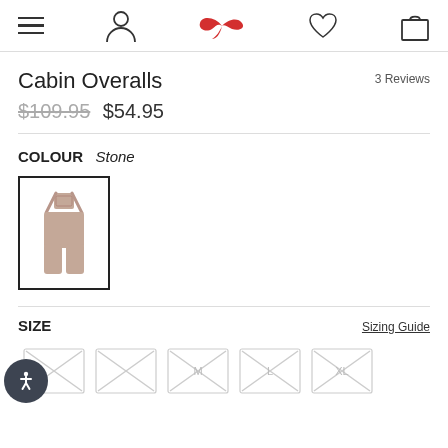Navigation bar with hamburger menu, user icon, bird logo, heart icon, bag icon
3 Reviews
Cabin Overalls
$109.95 $54.95
COLOUR Stone
[Figure (photo): Stone coloured cabin overalls product thumbnail in a bordered square swatch]
SIZE
Sizing Guide
Size options: XS (out of stock), S (out of stock), M (out of stock), L (out of stock), XL (out of stock)